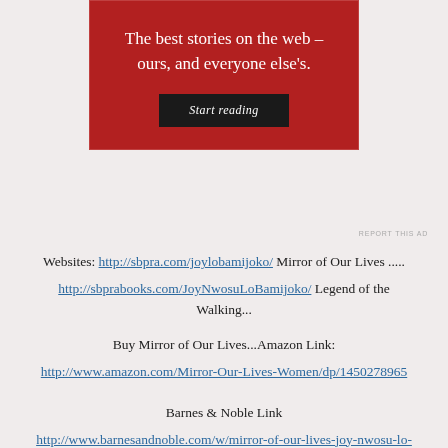[Figure (infographic): Red advertisement box with white text 'The best stories on the web – ours, and everyone else's.' and a dark 'Start reading' button]
REPORT THIS AD
Websites: http://sbpra.com/joylobamijoko/ Mirror of Our Lives ..... http://sbprabooks.com/JoyNwosuLoBamijoko/ Legend of the Walking...
Buy Mirror of Our Lives...Amazon Link:
http://www.amazon.com/Mirror-Our-Lives-Women/dp/1450278965
Barnes & Noble Link
http://www.barnesandnoble.com/w/mirror-of-our-lives-joy-nwosu-lo-bamijoko/1102630079?ean=9781450278966